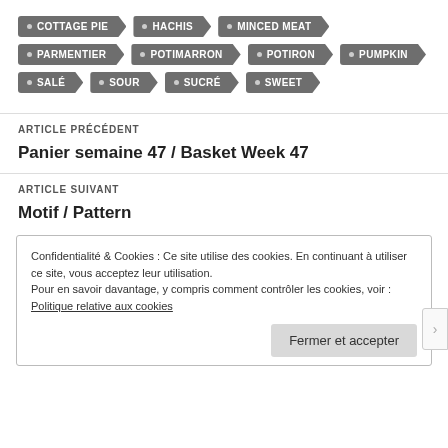COTTAGE PIE
HACHIS
MINCED MEAT
PARMENTIER
POTIMARRON
POTIRON
PUMPKIN
SALÉ
SOUR
SUCRÉ
SWEET
ARTICLE PRÉCÉDENT
Panier semaine 47 / Basket Week 47
ARTICLE SUIVANT
Motif / Pattern
Confidentialité & Cookies : Ce site utilise des cookies. En continuant à utiliser ce site, vous acceptez leur utilisation.
Pour en savoir davantage, y compris comment contrôler les cookies, voir :
Politique relative aux cookies
Fermer et accepter